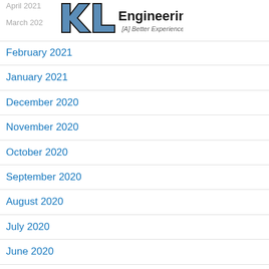KL Engineering [A] Better Experience
April 2021 (truncated)
March 2021 (truncated)
February 2021
January 2021
December 2020
November 2020
October 2020
September 2020
August 2020
July 2020
June 2020
May 2020